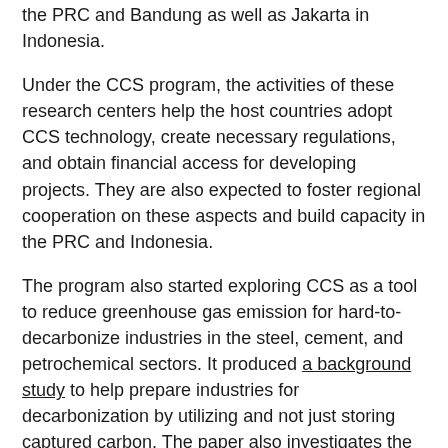the PRC and Bandung as well as Jakarta in Indonesia.
Under the CCS program, the activities of these research centers help the host countries adopt CCS technology, create necessary regulations, and obtain financial access for developing projects. They are also expected to foster regional cooperation on these aspects and build capacity in the PRC and Indonesia.
The program also started exploring CCS as a tool to reduce greenhouse gas emission for hard-to-decarbonize industries in the steel, cement, and petrochemical sectors. It produced a background study to help prepare industries for decarbonization by utilizing and not just storing captured carbon. The paper also investigates the financing requirements and mechanisms, as well as policy drivers and recommendations, to advance readiness to shift to a low-carbon era.
The CCS program bridged the gap between policy, technology, and finance mechanisms, and supported the development of demonstration of CCS projects, both land- and ocean-based.